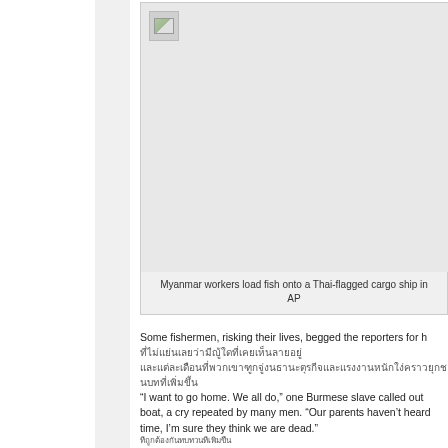[Figure (photo): Broken/unloaded image placeholder showing Myanmar workers loading fish onto a Thai-flagged cargo ship]
Myanmar workers load fish onto a Thai-flagged cargo ship in... AP
Some fishermen, risking their lives, begged the reporters for h...
Thai text lines (two lines of Thai script)
“I want to go home. We all do,” one Burmese slave called out... boat, a cry repeated by many men. “Our parents haven’t heard... time, I’m sure they think we are dead.”
Thai script footer text